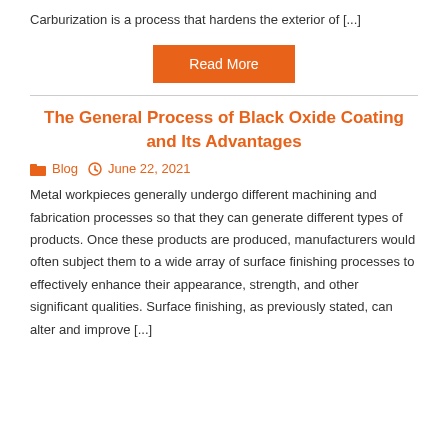Carburization is a process that hardens the exterior of [...]
Read More
The General Process of Black Oxide Coating and Its Advantages
Blog  June 22, 2021
Metal workpieces generally undergo different machining and fabrication processes so that they can generate different types of products. Once these products are produced, manufacturers would often subject them to a wide array of surface finishing processes to effectively enhance their appearance, strength, and other significant qualities. Surface finishing, as previously stated, can alter and improve [...]